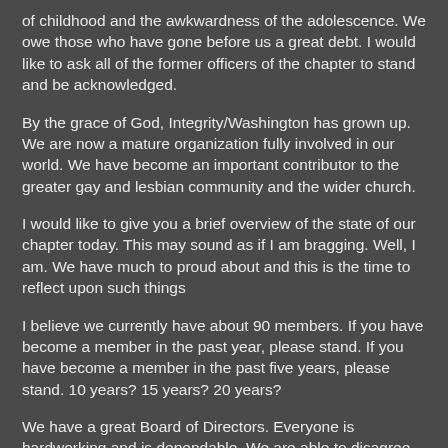of childhood and the awkwardness of the adolescence.  We owe those who have gone before us a great debt.  I would like to ask all of the former officers of the chapter to stand and be acknowledged.
By the grace of God, Integrity/Washington has grown up.  We are now a mature organization fully involved in our world.  We have become an important contributor to the greater gay and lesbian community and the wider church.
I would like to give you a brief overview of the state of our chapter today.  This may sound as if I am bragging.  Well, I am.  We have much to proud about and this is the time to reflect upon such things
I believe we currently have about 90 members.  If you have become a member in the past year, please stand.  If you have become a member in the past five years, please stand.  10 years?  15 years?  20 years?
We have a great Board of Directors.  Everyone is hardworking and is dependable.  We are able to disagree in